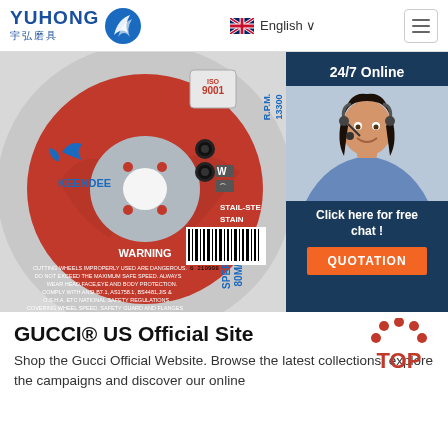[Figure (logo): YUHONG 宇弘磨具 logo with blue swoosh icon]
English ∨
[Figure (photo): Close-up of a red and grey cutting wheel (KEENDEE brand) with WARNING text, RPM 13300, SPEED 80M/S, barcode, and ISO 9001 badge. Overlaid with a chat widget showing a customer service representative.]
24/7 Online
Click here for free chat !
QUOTATION
GUCCI® US Official Site
Shop the Gucci Official Website. Browse the latest collections, explore the campaigns and discover our online